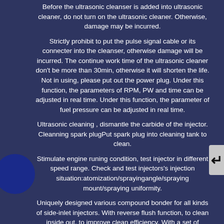Before the ultrasonic cleanser is added into ultrasonic cleaner, do not turn on the ultrasonic cleaner. Otherwise, damage may be incurred.
Strictly prohibit to put the pulse signal cable or its connecter into the cleanser, otherwise damage will be incurred. The continue work time of the ultrasonic cleaner don't be more than 30min, otherwise it will shorten the life. Not in using, please put out the power plug. Under this function, the parameters of RPM, PW and time can be adjusted in real time. Under this function, the parameter of fuel pressure can be adjusted in real time.
Ultrasonic cleaning , dismantle the carbide of the injector. Cleanning spark plugPut spark plug into cleaning tank to clean.
Stimulate engine runing condition, test injector in different speed range. Check and test injectors's injection situation:atomization/sprayingangle/spraying mount/spraying uniformity.
Uniquely designed various compound bonder for all kinds of side-inlet injectors. With reverse flush function, to clean inside out, to improve clean efficiency. With a set of adaptors to clean injectors without dismantling it from the engine. Valve (for discharging fluid from machine tank). Adaptor for fixing injector on machine...